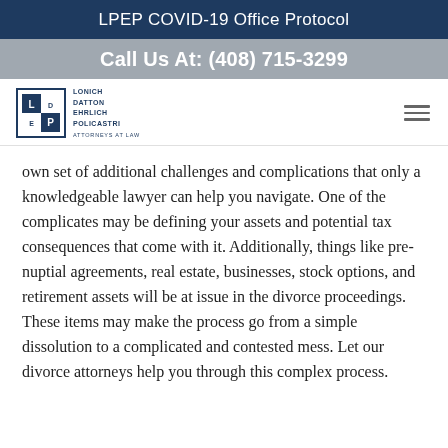LPEP COVID-19 Office Protocol
Call Us At: (408) 715-3299
[Figure (logo): LDEP law firm logo with text: Lonich Datton Ehrlich Policastri, Attorneys at Law]
own set of additional challenges and complications that only a knowledgeable lawyer can help you navigate. One of the complicates may be defining your assets and potential tax consequences that come with it. Additionally, things like pre-nuptial agreements, real estate, businesses, stock options, and retirement assets will be at issue in the divorce proceedings. These items may make the process go from a simple dissolution to a complicated and contested mess. Let our divorce attorneys help you through this complex process.